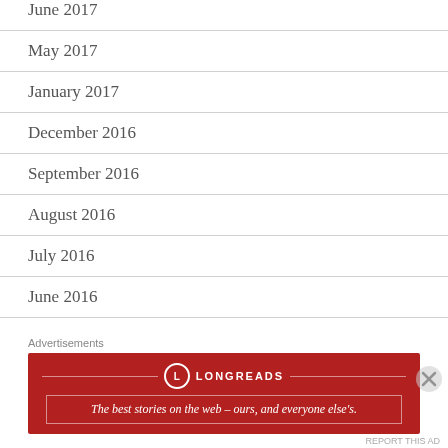June 2017
May 2017
January 2017
December 2016
September 2016
August 2016
July 2016
June 2016
April 2016
Advertisements
[Figure (other): Longreads advertisement banner: red background, logo circle with L, text 'The best stories on the web — ours, and everyone else's.']